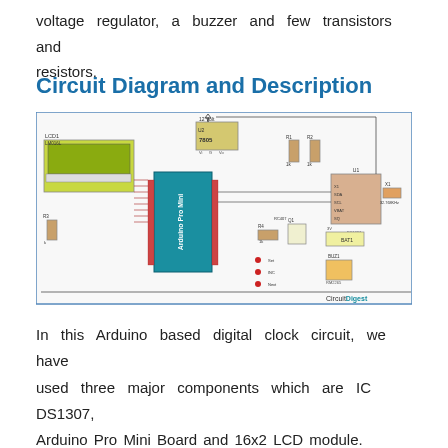voltage regulator, a buzzer and few transistors and resistors.
Circuit Diagram and Description
[Figure (circuit-diagram): Arduino based digital clock circuit diagram showing LCD1 (LM016L), Arduino Pro Mini, U2 7805 voltage regulator, IC DS1307 (U1), transistor Q1, battery BAT1, buzzer BUZ1, resistors R1, R2, R3, R4, and crystal X1 32.768KHz, with 12V power supply input. Circuit Digest watermark visible.]
In this Arduino based digital clock circuit, we have used three major components which are IC DS1307, Arduino Pro Mini Board and 16x2 LCD module.